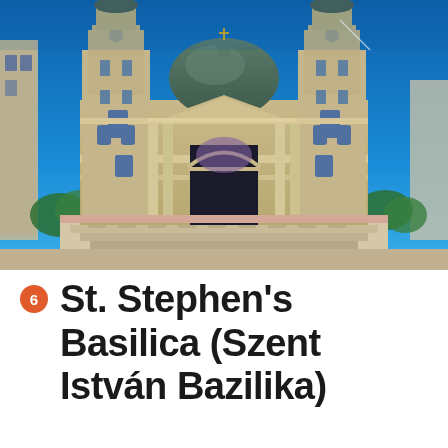[Figure (photo): Photograph of St. Stephen's Basilica in Budapest, Hungary. The neoclassical church facade with two tall bell towers and a central dome, shot from ground level against a vivid deep blue sky. The stone building is sandy/cream colored with ornate decorative elements. Steps lead up to the main entrance arch. Surrounding buildings and trees are visible on the sides.]
6 St. Stephen's Basilica (Szent István Bazilika)